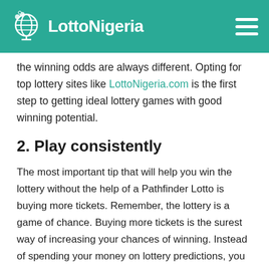LottoNigeria
the winning odds are always different. Opting for top lottery sites like LottoNigeria.com is the first step to getting ideal lottery games with good winning potential.
2. Play consistently
The most important tip that will help you win the lottery without the help of a Pathfinder Lotto is buying more tickets. Remember, the lottery is a game of chance. Buying more tickets is the surest way of increasing your chances of winning. Instead of spending your money on lottery predictions, you should channel it to buying more tickets that can help you win the lottery.
3. Form a lottery syndicate